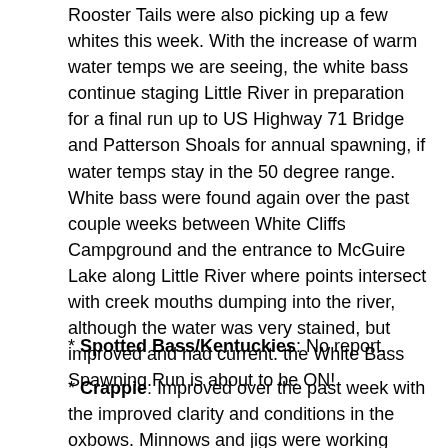Rooster Tails were also picking up a few whites this week. With the increase of warm water temps we are seeing, the white bass continue staging Little River in preparation for a final run up to US Highway 71 Bridge and Patterson Shoals for annual spawning, if water temps stay in the 50 degree range. White bass were found again over the past couple weeks between White Cliffs Campground and the entrance to McGuire Lake along Little River where points intersect with creek mouths dumping into the river, although the water was very stained, but improved and had current. the White Bass Spawning Run is about to be ON!
* Spotted Bass/Kentuckies: No report.
* Crappie: Improved over the past week with the improved clarity and conditions in the oxbows. Minnows and jigs were working near standing timber and creek channels in the clearer sections of the oxbows and golf course pockets, from 8-12 feet deep.